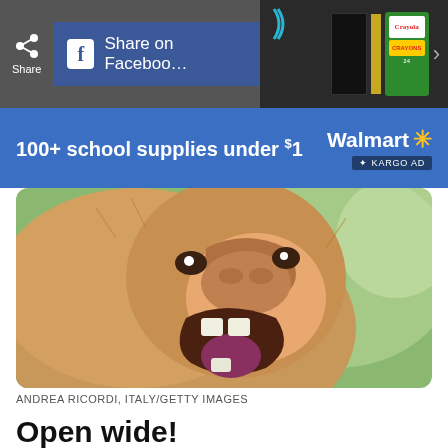Share  Share on Facebook
[Figure (infographic): Walmart ad banner: '100+ school supplies under $1' with Walmart logo and Kargo Ad badge on blue background]
[Figure (photo): Close-up photo of a proboscis monkey with mouth wide open, showing large nose and teeth, blurred green background]
ANDREA RICORDI, ITALY/GETTY IMAGES
Open wide!
My, what a big nose you have! All the better to smell you with! My, what sharp teeth you have! All the better to—aaahh! Sorry, being the star of a